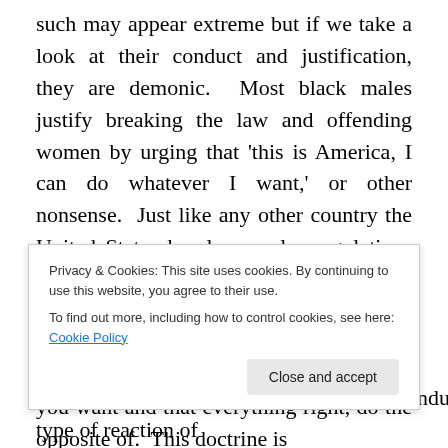such may appear extreme but if we take a look at their conduct and justification, they are demonic.  Most black males justify breaking the law and offending women by urging that 'this is America, I can do whatever I want,' or other nonsense.  Just like any other country the United States has laws, rules regulations and even societal expectations.  Beyond being offensive, their conduct is illegal–despite the lack of law enforcement.  The teachings of Satanism is to do whatever you want and that everything right, do the opposite of.  This doctrine is directly in sync with black males' public conduct, so know
Privacy & Cookies: This site uses cookies. By continuing to use this website, you agree to their use.
To find out more, including how to control cookies, see here: Cookie Policy
something of a devilish nature has this type of reaction of